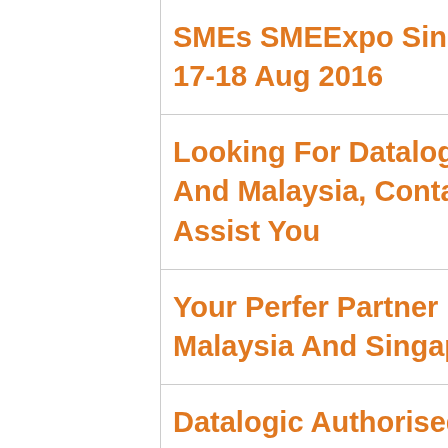SMEs SMEExpo Singapore 2016 Suntec Singapore 17-18 Aug 2016
Looking For Datalogic Service Center In Singapore And Malaysia, Contact ALC Group Of Company To Assist You
Your Perfer Partner For Datalogic Product In Malaysia And Singapore
Datalogic Authorised Certified Partner In Malaysia For